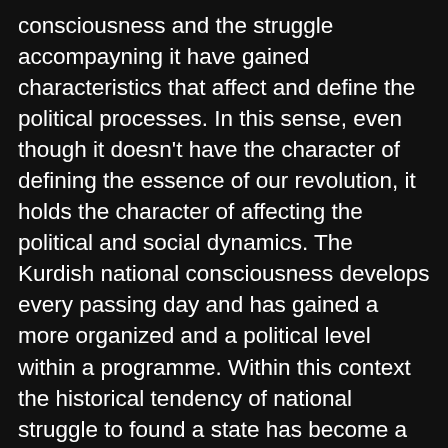consciousness and the struggle accompayning it have gained characteristics that affect and define the political processes. In this sense, even though it doesn't have the character of defining the essence of our revolution, it holds the character of affecting the political and social dynamics. The Kurdish national consciousness develops every passing day and has gained a more organized and a political level within a programme. Within this context the historical tendency of national struggle to found a state has become a stronger tendency in the Kurdish nation for these reasons. These developments have created the approach to focus more onto this problem, to be more concerned about it, to take this contradiction as a more dynamic element of our social revolution in the Party. Our Party has discussed this question at every stage of its existence, and approached it based on the current point which the National Movement has reached. Our Congress has adopted the approach of leaning on the accumulation that our Party has obtained within the years. At this very point it was determined that in regards to the essence and the quality of the National Question there has not been any changes. However, it has increased its influence on the social contradiction and political processes